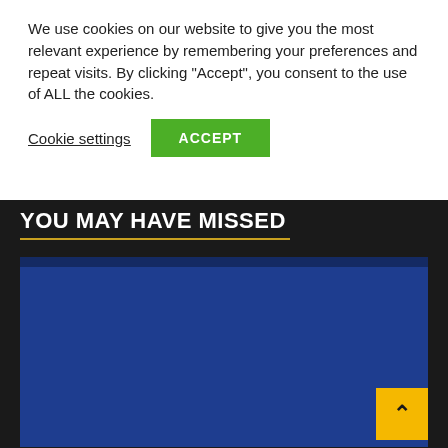We use cookies on our website to give you the most relevant experience by remembering your preferences and repeat visits. By clicking “Accept”, you consent to the use of ALL the cookies.
Cookie settings
ACCEPT
YOU MAY HAVE MISSED
[Figure (screenshot): Article card for Episode 195: How to Optimize Your Student Loans and Finances Using Case Studies from Real Borrowers, showing a hand holding a phone with 'Case Study' text and icons on a blue background]